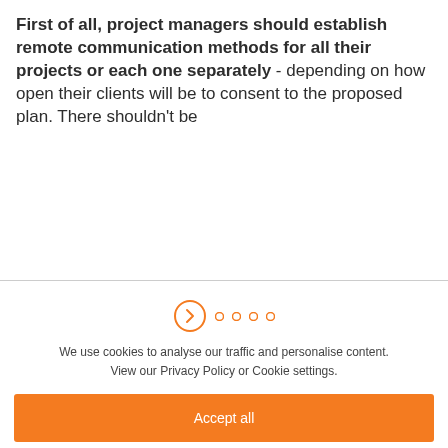First of all, project managers should establish remote communication methods for all their projects or each one separately - depending on how open their clients will be to consent to the proposed plan. There shouldn't be
[Figure (other): Cookie consent dialog icon row: one large outlined circle with an arrow/person icon (orange), followed by four smaller orange dots]
We use cookies to analyse our traffic and personalise content. View our Privacy Policy or Cookie settings.
Accept all
Dismiss
Preferences